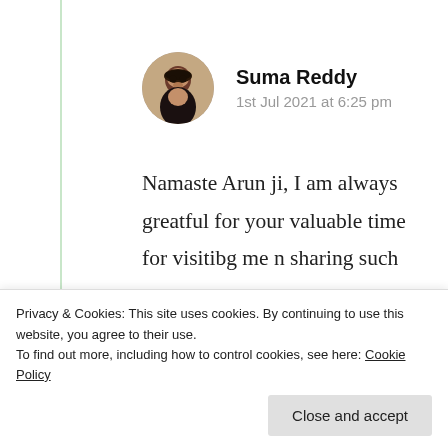[Figure (photo): Circular avatar photo of Suma Reddy, a woman with dark hair against a blurred background]
Suma Reddy
1st Jul 2021 at 6:25 pm
Namaste Arun ji, I am always greatful for your valuable time for visitibg me n sharing such rare views and I am glad you found my thoughts to consider for your today's situation.
others on fb. Please consider my
Privacy & Cookies: This site uses cookies. By continuing to use this website, you agree to their use.
To find out more, including how to control cookies, see here: Cookie Policy
Close and accept